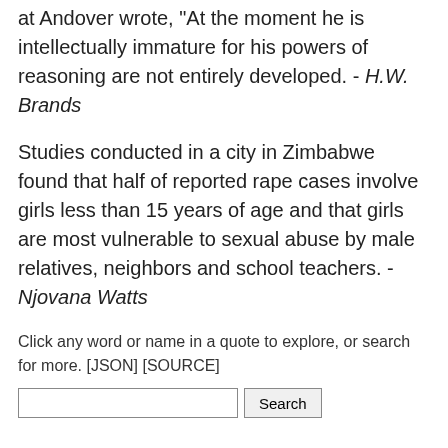at Andover wrote, "At the moment he is intellectually immature for his powers of reasoning are not entirely developed. - H.W. Brands
Studies conducted in a city in Zimbabwe found that half of reported rape cases involve girls less than 15 years of age and that girls are most vulnerable to sexual abuse by male relatives, neighbors and school teachers. - Njovana Watts
Click any word or name in a quote to explore, or search for more. [JSON] [SOURCE]